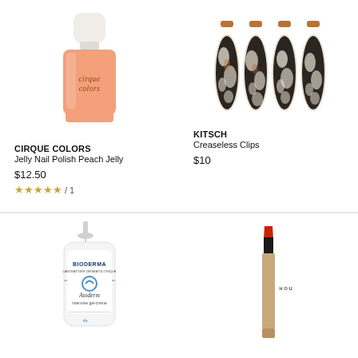[Figure (photo): Cirque Colors Jelly Nail Polish in Peach Jelly — a peach-colored nail polish bottle with white cap, brand name printed on bottle]
CIRQUE COLORS
Jelly Nail Polish Peach Jelly
$12.50
★★★★★ / 1
[Figure (photo): Kitsch Creaseless Clips — four black and white tortoiseshell-patterned hair clips with rose gold/copper metal tops]
KITSCH
Creaseless Clips
$10
[Figure (photo): Bioderma Atoderm Intensive Gel-crème moisturizer — white pump bottle with blue accent label]
[Figure (photo): Hourglass lipstick — gold/tan tube with black applicator and red lip color tip]